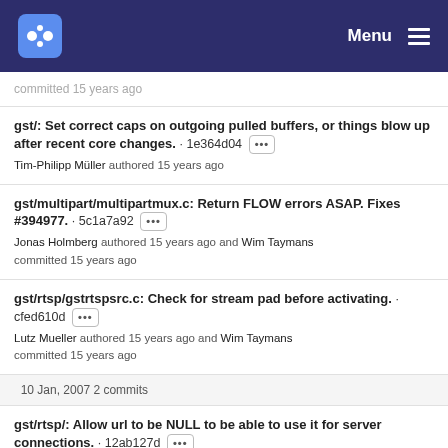Menu
committed 15 years ago
gst/: Set correct caps on outgoing pulled buffers, or things blow up after recent core changes. · 1e364d04 [...]
Tim-Philipp Müller authored 15 years ago
gst/multipart/multipartmux.c: Return FLOW errors ASAP. Fixes #394977. · 5c1a7a92 [...]
Jonas Holmberg authored 15 years ago and Wim Taymans committed 15 years ago
gst/rtsp/gstrtspsrc.c: Check for stream pad before activating. · cfed610d [...]
Lutz Mueller authored 15 years ago and Wim Taymans committed 15 years ago
10 Jan, 2007 2 commits
gst/rtsp/: Allow url to be NULL to be able to use it for server connections. · 12ab127d [...]